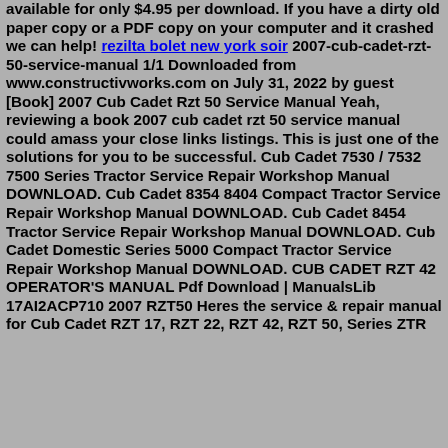available for only $4.95 per download. If you have a dirty old paper copy or a PDF copy on your computer and it crashed we can help! rezilta bolet new york soir 2007-cub-cadet-rzt-50-service-manual 1/1 Downloaded from www.constructivworks.com on July 31, 2022 by guest [Book] 2007 Cub Cadet Rzt 50 Service Manual Yeah, reviewing a book 2007 cub cadet rzt 50 service manual could amass your close links listings. This is just one of the solutions for you to be successful. Cub Cadet 7530 / 7532 7500 Series Tractor Service Repair Workshop Manual DOWNLOAD. Cub Cadet 8354 8404 Compact Tractor Service Repair Workshop Manual DOWNLOAD. Cub Cadet 8454 Tractor Service Repair Workshop Manual DOWNLOAD. Cub Cadet Domestic Series 5000 Compact Tractor Service Repair Workshop Manual DOWNLOAD. CUB CADET RZT 42 OPERATOR'S MANUAL Pdf Download | ManualsLib 17AI2ACP710 2007 RZT50 Heres the service & repair manual for Cub Cadet RZT 17, RZT 22, RZT 42, RZT 50, Series ZTR